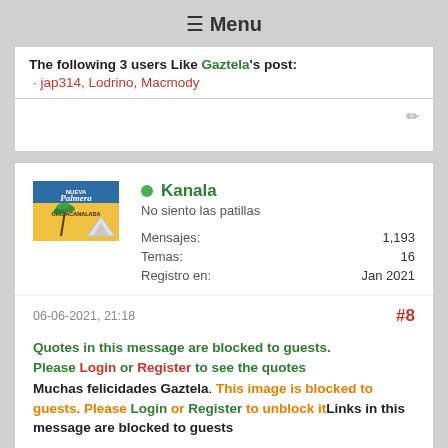☰ Menu
The following 3 users Like Gaztela's post: · jap314, Lodrino, Macmody
Kanala
No siento las patillas
Mensajes: 1,193
Temas: 16
Registro en: Jan 2021
06-06-2021, 21:18   #8
Quotes in this message are blocked to guests. Please Login or Register to see the quotes Muchas felicidades Gaztela. This image is blocked to guests. Please Login or Register to unblock it Links in this message are blocked to guests